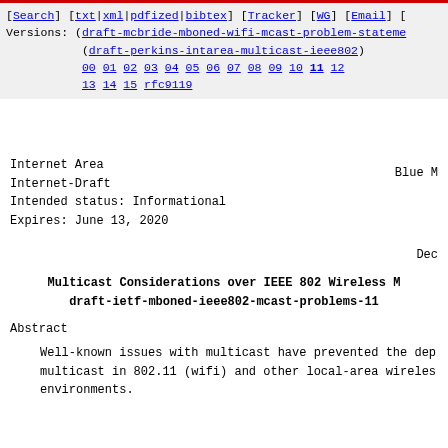[Search] [txt|xml|pdfized|bibtex] [Tracker] [WG] [Email] [ Versions: (draft-mcbride-mboned-wifi-mcast-problem-stateme... (draft-perkins-intarea-multicast-ieee802) 00 01 02 03 04 05 06 07 08 09 10 11 12 13 14 15 rfc9119
Internet Area
Internet-Draft
Intended status: Informational
Expires: June 13, 2020
Blue M
Dec
Multicast Considerations over IEEE 802 Wireless M
draft-ietf-mboned-ieee802-mcast-problems-11
Abstract
Well-known issues with multicast have prevented the dep multicast in 802.11 (wifi) and other local-area wireles environments.